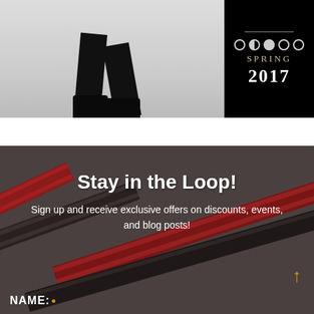[Figure (photo): Photo of person walking wearing black pants and black boots on light background, with a black panel on the right showing 'SPRING 2017' text with decorative dots and a horizontal line]
Stay in the Loop!
Sign up and receive exclusive offers on discounts, events, and blog posts!
NAME: